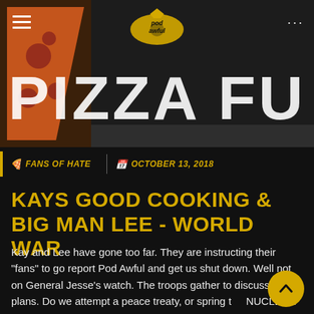[Figure (screenshot): Hero banner with pizza slice image on left, Pod Awful logo in center, partially visible 'PIZZA FU' text in large white letters on dark background. Hamburger menu icon top-left, three dots top-right.]
FANS OF HATE | OCTOBER 13, 2018
KAYS GOOD COOKING & BIG MAN LEE - WORLD WAR
Kay and Lee have gone too far. They are instructing their "fans" to go report Pod Awful and get us shut down. Well not on General Jesse's watch. The troops gather to discuss war plans. Do we attempt a peace treaty, or spring the NUCLEAR OPTION?